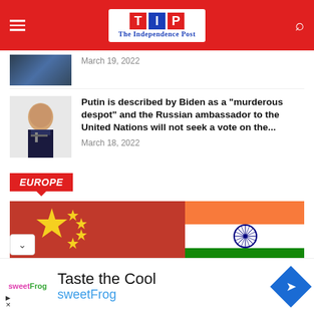The Independence Post
March 19, 2022
Putin is described by Biden as a "murderous despot" and the Russian ambassador to the United Nations will not seek a vote on the...
March 18, 2022
EUROPE
[Figure (photo): Chinese flag and Indian flag side by side]
Taste the Cool
sweetFrog